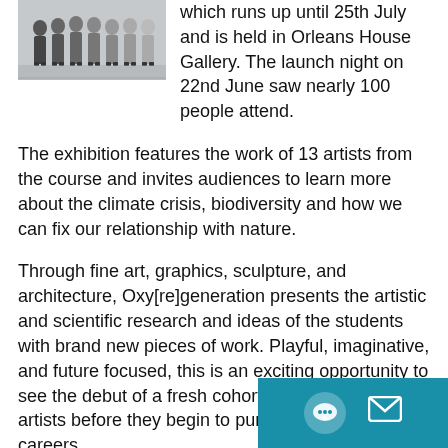[Figure (photo): Group of people standing in a corridor or gallery space, viewed from the front]
their Oxy[re]generation exhibition which runs up until 25th July and is held in Orleans House Gallery. The launch night on 22nd June saw nearly 100 people attend.
The exhibition features the work of 13 artists from the course and invites audiences to learn more about the climate crisis, biodiversity and how we can fix our relationship with nature.
Through fine art, graphics, sculpture, and architecture, Oxy[re]generation presents the artistic and scientific research and ideas of the students with brand new pieces of work. Playful, imaginative, and future focused, this is an exciting opportunity to see the debut of a fresh cohort of West London artists before they begin to pursue their artistic careers.
Art and Design teacher Jo Terrell expressed her delight with how the launch night went, saying “Last nig[ht was an] amazing achievement for the Access to HE,